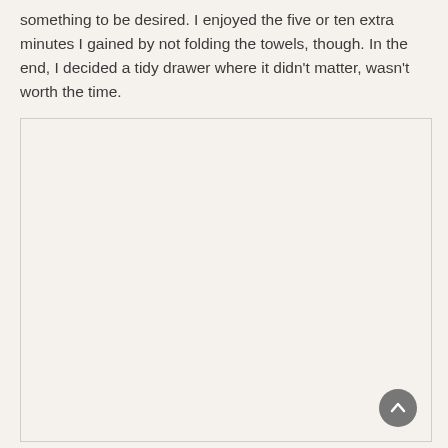something to be desired. I enjoyed the five or ten extra minutes I gained by not folding the towels, though. In the end, I decided a tidy drawer where it didn't matter, wasn't worth the time.
[Figure (other): A large blank/empty rectangular box with a light border, occupying most of the lower portion of the page. Contains a circular scroll-to-top button in the bottom-right corner.]